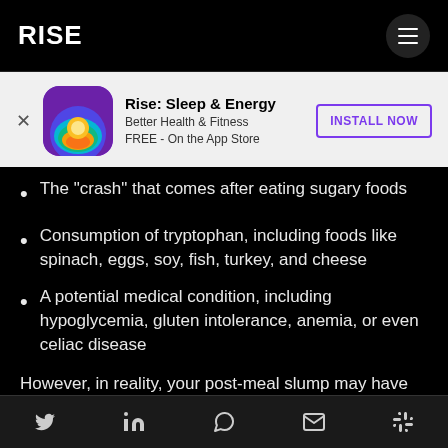RISE
[Figure (screenshot): App advertisement banner for Rise: Sleep & Energy app. Shows app icon, name, subtitle 'Better Health & Fitness', 'FREE - On the App Store', and an INSTALL NOW button with purple border.]
The "crash" that comes after eating sugary foods
Consumption of tryptophan, including foods like spinach, eggs, soy, fish, turkey, and cheese
A potential medical condition, including hypoglycemia, gluten intolerance, anemia, or even celiac disease
However, in reality, your post-meal slump may have nothing to do with your diet at all. You may make the
Social share icons: Twitter, LinkedIn, WhatsApp, Gmail, Slack